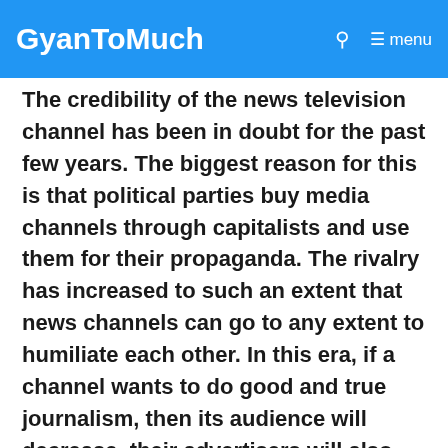GyanToMuch   🔍   ☰ menu
The credibility of the news television channel has been in doubt for the past few years. The biggest reason for this is that political parties buy media channels through capitalists and use them for their propaganda. The rivalry has increased to such an extent that news channels can go to any extent to humiliate each other. In this era, if a channel wants to do good and true journalism, then its audience will decrease, their advertisers will also cut off from them and the channel owner will be engaged in some way to coordinate between the editorial team and the revenue team. In 2018, BBC One channel had shown a web series of 6 episodes named Press. How the